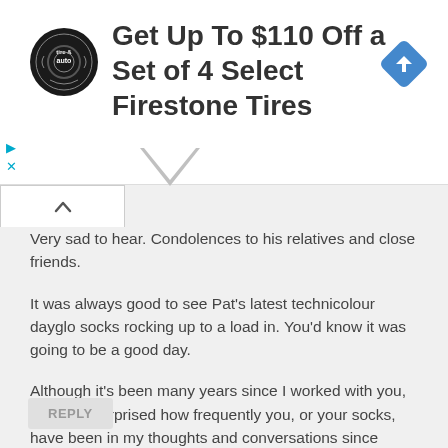[Figure (infographic): Advertisement banner: circular tire & auto logo on left, large bold text 'Get Up To $110 Off a Set of 4 Select Firestone Tires' in center, blue diamond navigation icon on right, play and close icons at bottom left]
Very sad to hear. Condolences to his relatives and close friends.

It was always good to see Pat’s latest technicolour dayglo socks rocking up to a load in. You’d know it was going to be a good day.

Although it’s been many years since I worked with you, you’d be surprised how frequently you, or your socks, have been in my thoughts and conversations since those days!

Thanks for some really good times, Pat.